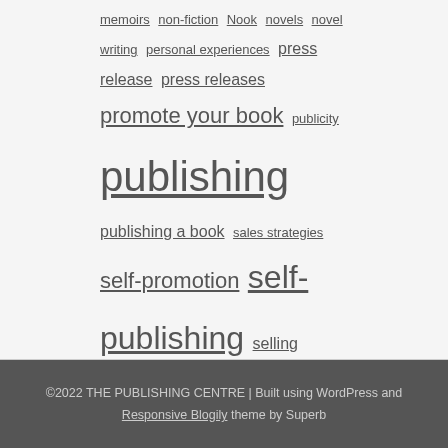memoirs non-fiction Nook novels novel writing personal experiences press release press releases promote your book publicity publishing publishing a book sales strategies self-promotion self-publishing selling books short stories web presence writers life writing writing a novel writing books writing time writing tips
©2022 THE PUBLISHING CENTRE | Built using WordPress and Responsive Blogily theme by Superb